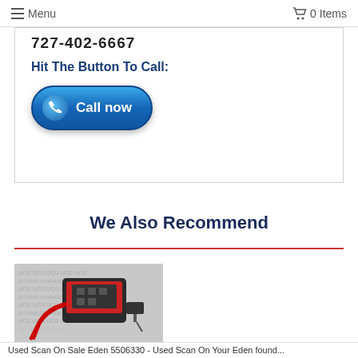☰ Menu   🛒 0 Items
727-402-6667
Hit The Button To Call:
[Figure (illustration): Blue glossy 'Call now' button with phone icon]
We Also Recommend
[Figure (photo): Photo of a handheld OBD diagnostic scan tool with cables and charger on a UCG-branded backdrop]
Used Scan On Sale Eden 5506330 - Used Scan On Your Eden found...